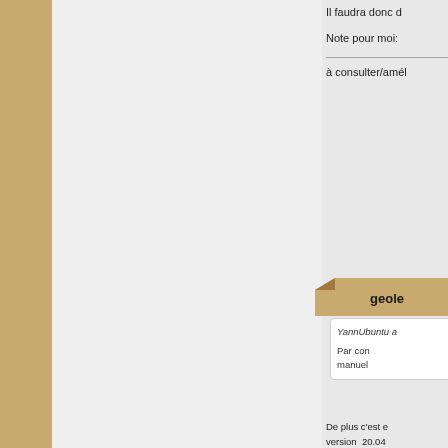Il faudra donc d
Note pour moi:
à consulter/amél
geole
YannUbuntu a
Par con
manuel
De plus c'est e
version   20.04
Il y a certainem
arrangé à sa fa
En revanche, le
Je ne sais pas
Finalement der
Je  posterais le
Je verrais alors